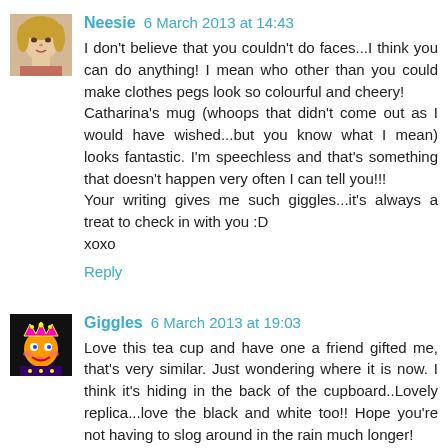[Figure (photo): Avatar photo of Neesie - woman with blonde hair]
Neesie 6 March 2013 at 14:43
I don't believe that you couldn't do faces...I think you can do anything! I mean who other than you could make clothes pegs look so colourful and cheery!
Catharina's mug (whoops that didn't come out as I would have wished...but you know what I mean) looks fantastic. I'm speechless and that's something that doesn't happen very often I can tell you!!!
Your writing gives me such giggles...it's always a treat to check in with you :D
xoxo
Reply
[Figure (illustration): Avatar image of Giggles - colorful cartoon character with crown]
Giggles 6 March 2013 at 19:03
Love this tea cup and have one a friend gifted me, that's very similar. Just wondering where it is now. I think it's hiding in the back of the cupboard..Lovely replica...love the black and white too!! Hope you're not having to slog around in the rain much longer!